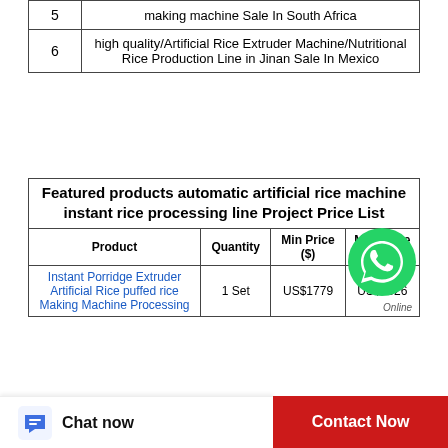|  |  |
| --- | --- |
| 5 | making machine Sale In South Africa |
| 6 | high quality/Artificial Rice Extruder Machine/Nutritional Rice Production Line in Jinan Sale In Mexico |
| Product | Quantity | Min Price ($) | Max Price ($) |
| --- | --- | --- | --- |
| Instant Porridge Extruder Artificial Rice puffed rice Making Machine Processing | 1 Set | US$1779 | US$5326 |
Chat now
Contact Now